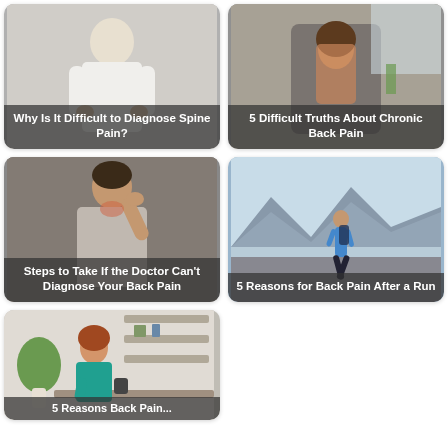[Figure (photo): Man in white shirt holding his lower back in pain]
Why Is It Difficult to Diagnose Spine Pain?
[Figure (photo): Woman with long brown hair leaning back in office chair with back pain]
5 Difficult Truths About Chronic Back Pain
[Figure (photo): Man reaching back to touch his neck/upper back in pain]
Steps to Take If the Doctor Can't Diagnose Your Back Pain
[Figure (photo): Runner jogging on road with mountains in background]
5 Reasons for Back Pain After a Run
[Figure (photo): Woman sitting at desk with back pain, plant and shelves in background]
5 Reasons Back Pain...